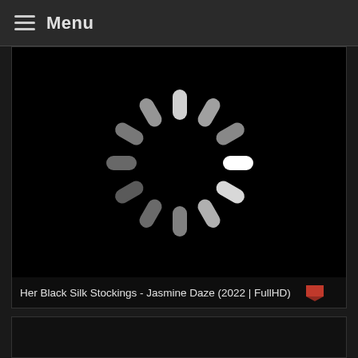Menu
[Figure (screenshot): Black video player area showing a loading spinner (circular arrangement of rounded bars fading from white to dark gray). Bottom bar shows title text.]
Her Black Silk Stockings - Jasmine Daze (2022 | FullHD)